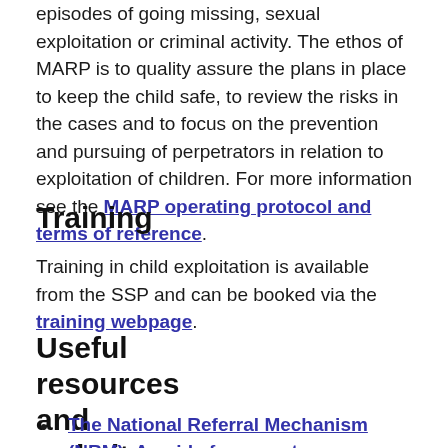episodes of going missing, sexual exploitation or criminal activity. The ethos of MARP is to quality assure the plans in place to keep the child safe, to review the risks in the cases and to focus on the prevention and pursuing of perpetrators in relation to exploitation of children. For more information see the MARP operating protocol and terms of reference.
Training
Training in child exploitation is available from the SSP and can be booked via the training webpage.
Useful resources and websites
The National Referral Mechanism (NRM): A guide for parents